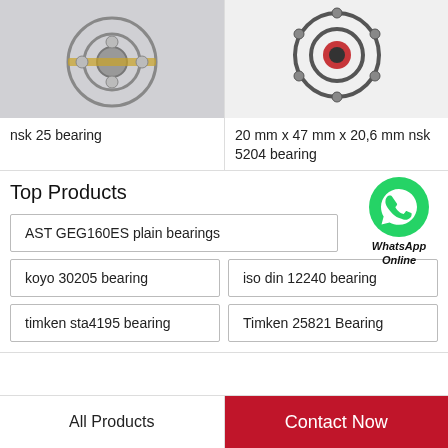[Figure (photo): Photo of an NSK 25 bearing on light gray background]
nsk 25 bearing
[Figure (photo): Photo of an NSK 5204 bearing on white background]
20 mm x 47 mm x 20,6 mm nsk 5204 bearing
Top Products
[Figure (logo): WhatsApp green circle icon with phone handset, labeled WhatsApp Online]
AST GEG160ES plain bearings
koyo 30205 bearing
iso din 12240 bearing
timken sta4195 bearing
Timken 25821 Bearing
All Products
Contact Now